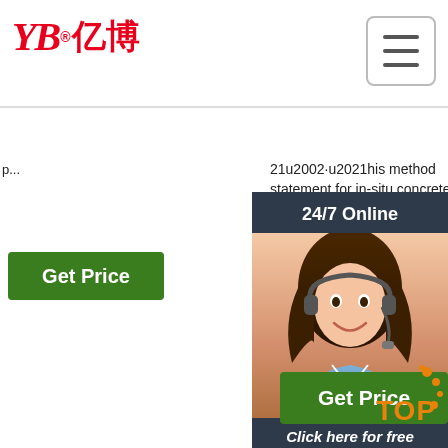[Figure (logo): YB亿博 logo in red text with registered trademark symbol]
[Figure (other): Hamburger menu icon button in top right corner]
21u2002·u2021his method statement for in-situ concrete & general concrete work describes the process to be implemented during the entire activity for such as in-situ concrete, concrete foundations, slab on grade, blindings, columns, beams, retaining walls, slabs, raft concrete, precast concrete, self-consolidating concrete, mass concrete and any structural concrete
3.05 m (10-ft) Spray tip(s) VP3 Ste tailo mo carg bra tie- Co Gat bed kg ( gre
[Figure (photo): 24/7 Online customer service representative photo with chat overlay panel showing 'Click here for free chat!' and QUOTATION button]
[Figure (other): Get Price green button bottom right with TOP icon]
[Figure (other): Get Price green button left side]